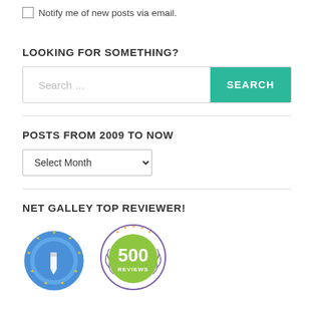Notify me of new posts via email.
LOOKING FOR SOMETHING?
Search ...
POSTS FROM 2009 TO NOW
Select Month
NET GALLEY TOP REVIEWER!
[Figure (logo): Two badge logos: a blue NetGalley Top Reviewer badge with stars and a pen icon, and a green 500 Reviews badge with purple laurel wreath and stars.]